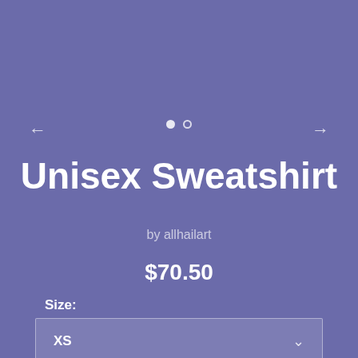[Figure (screenshot): Navigation arrows (left arrow on left side, right arrow on right side) with two pagination dots in the center — one filled, one empty outline.]
Unisex Sweatshirt
by allhailart
$70.50
Size:
XS